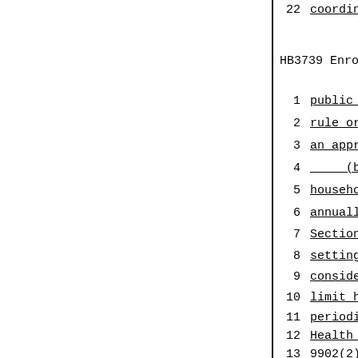22    coordinated and efficiently use
HB3739 Enrolled        - 2 -
1    public programs and through the
2    rule or rules shall be adopted
3    an appropriation for the progra
4        (b) Any person who is a res
5    household income is not greater
6    annually by the Department may
7    Section in accordance with rule
8    setting the annual eligibility
9    consider the amount of availabl
10   limit higher than 150% of the p
11   periodically in the Federal Reg
12   Health and Human Services under
13   9902(2).
14       (c) Applicants who qualify
15